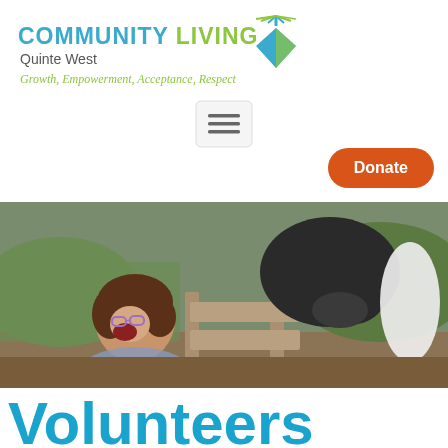Community Living Quinte West — Growth, Empowerment, Acceptance, Respect
[Figure (logo): Community Living Quinte West logo with green diamond/starburst graphic, teal 'COMMUNITY LIVING' text, green 'Quinte West' subtitle, and italic green tagline 'Growth, Empowerment, Acceptance, Respect']
[Figure (screenshot): Hamburger menu button (three horizontal lines) in a light grey rounded rectangle]
Donate
[Figure (photo): A laughing woman with glasses having her head nuzzled by a black and white horse over a wooden fence rail, in an outdoor farm/pasture setting with green grass in background]
Volunteers